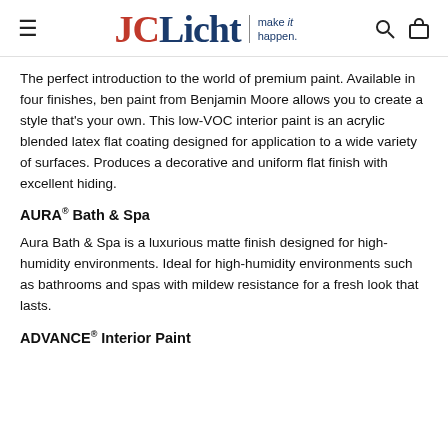JCLicht | make it happen.
The perfect introduction to the world of premium paint. Available in four finishes, ben paint from Benjamin Moore allows you to create a style that's your own. This low-VOC interior paint is an acrylic blended latex flat coating designed for application to a wide variety of surfaces. Produces a decorative and uniform flat finish with excellent hiding.
AURA® Bath & Spa
Aura Bath & Spa is a luxurious matte finish designed for high-humidity environments. Ideal for high-humidity environments such as bathrooms and spas with mildew resistance for a fresh look that lasts.
ADVANCE® Interior Paint